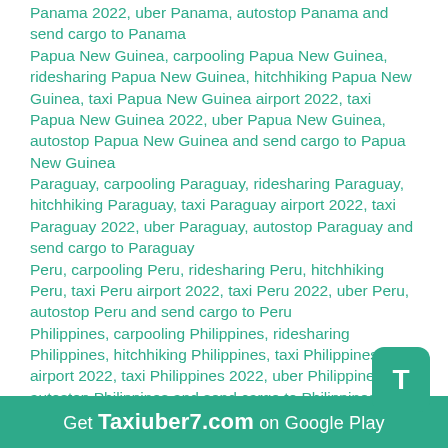Panama 2022, uber Panama, autostop Panama and send cargo to Panama
Papua New Guinea, carpooling Papua New Guinea, ridesharing Papua New Guinea, hitchhiking Papua New Guinea, taxi Papua New Guinea airport 2022, taxi Papua New Guinea 2022, uber Papua New Guinea, autostop Papua New Guinea and send cargo to Papua New Guinea
Paraguay, carpooling Paraguay, ridesharing Paraguay, hitchhiking Paraguay, taxi Paraguay airport 2022, taxi Paraguay 2022, uber Paraguay, autostop Paraguay and send cargo to Paraguay
Peru, carpooling Peru, ridesharing Peru, hitchhiking Peru, taxi Peru airport 2022, taxi Peru 2022, uber Peru, autostop Peru and send cargo to Peru
Philippines, carpooling Philippines, ridesharing Philippines, hitchhiking Philippines, taxi Philippines airport 2022, taxi Philippines 2022, uber Philippines, autostop Philippines and send cargo to Philippines
Poland, carpooling Poland, ridesharing Poland, hitchhiking Poland, taxi Poland airport 2022, taxi Poland 2022, uber Poland, autostop Poland and send cargo to Poland
Portugal, carpooling Portugal, ridesharing Portugal, hitchhiking Portugal, taxi Portugal airport 2022, taxi...
Get Taxiuber7.com on Google Play